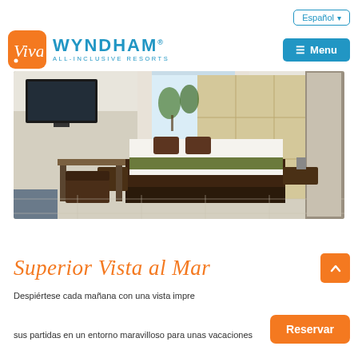Español ▾
[Figure (logo): Viva Wyndham All-Inclusive Resorts logo with orange Viva badge and blue Wyndham text]
[Figure (photo): Hotel superior room with sea view: king bed with green accent pillow, wall-mounted TV, desk, floor-to-ceiling headboard panels, sliding glass door to balcony with ocean view beyond]
Superior Vista al Mar
Despiértese cada mañana con una vista impre... sus partidas en un entorno maravilloso para unas vacaciones...